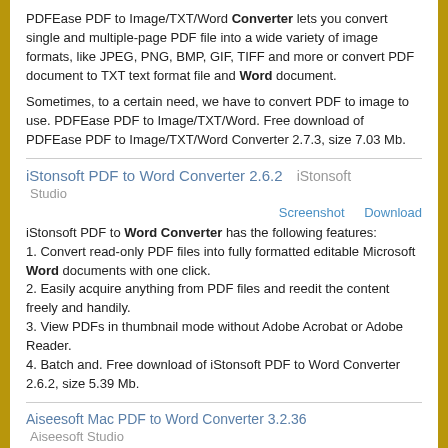PDFEase PDF to Image/TXT/Word Converter lets you convert single and multiple-page PDF file into a wide variety of image formats, like JPEG, PNG, BMP, GIF, TIFF and more or convert PDF document to TXT text format file and Word document.
Sometimes, to a certain need, we have to convert PDF to image to use. PDFEase PDF to Image/TXT/Word. Free download of PDFEase PDF to Image/TXT/Word Converter 2.7.3, size 7.03 Mb.
iStonsoft PDF to Word Converter 2.6.2    iStonsoft Studio
Screenshot    Download
iStonsoft PDF to Word Converter has the following features:
1. Convert read-only PDF files into fully formatted editable Microsoft Word documents with one click.
2. Easily acquire anything from PDF files and reedit the content freely and handily.
3. View PDFs in thumbnail mode without Adobe Acrobat or Adobe Reader.
4. Batch and. Free download of iStonsoft PDF to Word Converter 2.6.2, size 5.39 Mb.
Aiseesoft Mac PDF to Word Converter 3.2.36    Aiseesoft Studio
Screenshot    Download
Aiseesoft Mac PDF to Word Converter, as one powerful PDF to word converting tool, can easily help Mac users to convert any kind of PDF files to Word format and RTF documents on Mac. It also supports batch conversion, and extracting page(s) from source PDF. The more amazing, it can recognize text from the scanned PDF and convert it to text-based. Free download of Aiseesoft Mac PDF